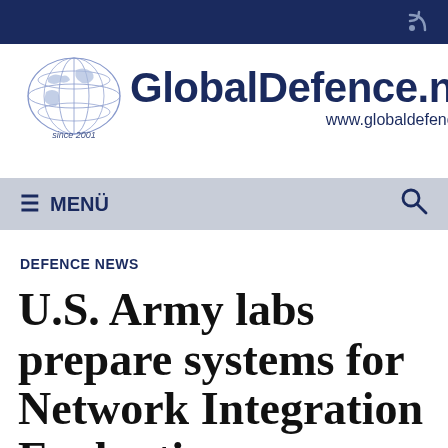GlobalDefence.net — www.globaldefence.net
DEFENCE NEWS
U.S. Army labs prepare systems for Network Integration Evaluation